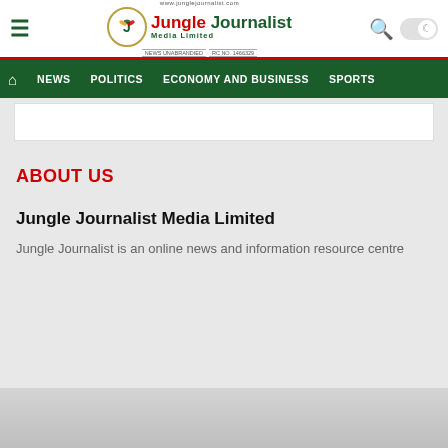Jungle Journalist Media Limited — site header with navigation
ABOUT US
Jungle Journalist Media Limited
Jungle Journalist is an online news and information resource centre